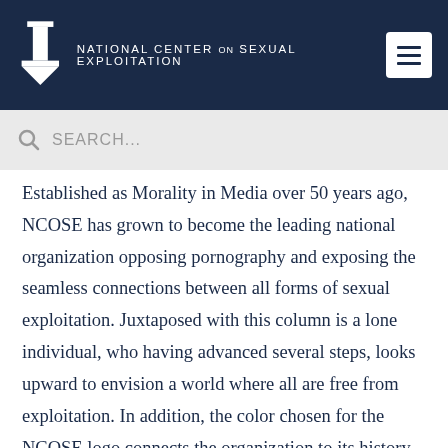NATIONAL CENTER ON SEXUAL EXPLOITATION
Established as Morality in Media over 50 years ago, NCOSE has grown to become the leading national organization opposing pornography and exposing the seamless connections between all forms of sexual exploitation. Juxtaposed with this column is a lone individual, who having advanced several steps, looks upward to envision a world where all are free from exploitation. In addition, the color chosen for the NCOSE logo connects the organization to its history. By choosing blue – the color of truth – NCOSE